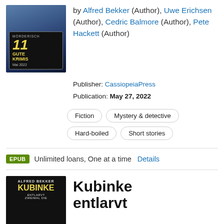[Figure (illustration): Book cover for '11 Mörderisch Gute Krimis Mai 2022' with yellow number 11 and title text on dark background]
by Alfred Bekker (Author), Uwe Erichsen (Author), Cedric Balmore (Author), Pete Hackett (Author)
Publisher: CassiopeiaPress
Publication: May 27, 2022
Fiction
Mystery & detective
Hard-boiled
Short stories
EPUB  Unlimited loans, One at a time  Details
[Figure (illustration): Book cover for 'Kubinke entlarvt' by Alfred Bekker, dark cover with yellow title text]
Kubinke entlarvt